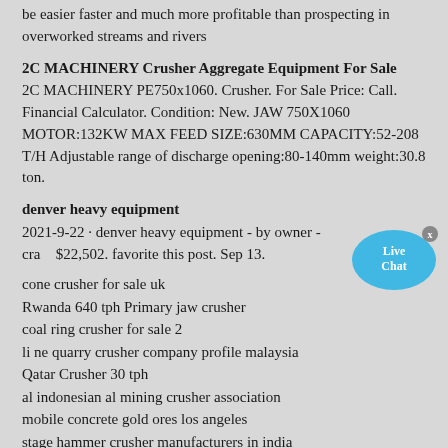be easier faster and much more profitable than prospecting in overworked streams and rivers
2C MACHINERY Crusher Aggregate Equipment For Sale
2C MACHINERY PE750x1060. Crusher. For Sale Price: Call. Financial Calculator. Condition: New. JAW 750X1060 MOTOR:132KW MAX FEED SIZE:630MM CAPACITY:52-208 T/H Adjustable range of discharge opening:80-140mm weight:30.8 ton.
denver heavy equipment
2021-9-22 · denver heavy equipment - by owner - cra... $22,502. favorite this post. Sep 13.
cone crusher for sale uk
Rwanda 640 tph Primary jaw crusher
coal ring crusher for sale 2
li ne quarry crusher company profile malaysia
Qatar Crusher 30 tph
al indonesian al mining crusher association
mobile concrete gold ores los angeles
stage hammer crusher manufacturers in india
brick crushers for sale in australia
one coat elite is a gypsum based plaster
gold ore dressing methods
Vertical shaft impact 60 tph Nigeria
minerals india crusher plants videos